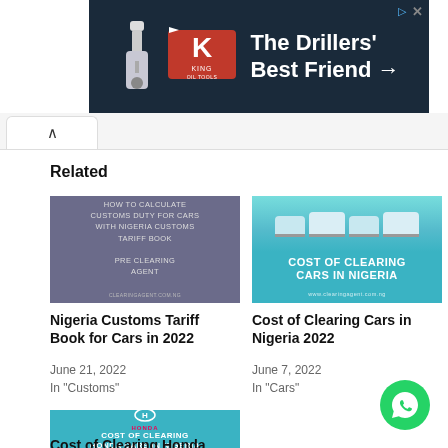[Figure (illustration): Advertisement banner for King Oil Tools - The Drillers' Best Friend with dark navy background, red K logo and drilling equipment image]
Related
[Figure (illustration): Thumbnail image with grey/blue background and text: How to Calculate Customs Duty for Cars with Nigeria Customs Tariff Book - Pre Clearing Agent]
Nigeria Customs Tariff Book for Cars in 2022
June 21, 2022
In "Customs"
[Figure (illustration): Thumbnail image for Cost of Clearing Cars in Nigeria with teal background and white car silhouettes]
Cost of Clearing Cars in Nigeria 2022
June 7, 2022
In "Cars"
[Figure (illustration): Thumbnail image for Cost of Clearing Honda Cars in Nigeria with teal background, Honda logo]
Cost of Clearing Honda